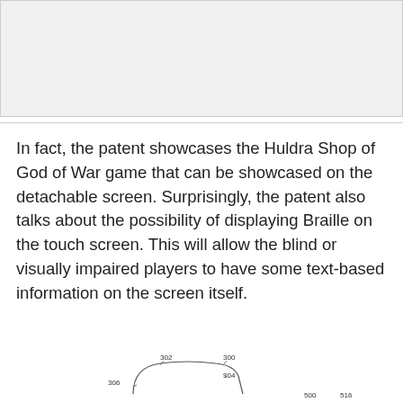[Figure (other): Gray placeholder image area at top of page]
In fact, the patent showcases the Huldra Shop of God of War game that can be showcased on the detachable screen. Surprisingly, the patent also talks about the possibility of displaying Braille on the touch screen. This will allow the blind or visually impaired players to have some text-based information on the screen itself.
[Figure (engineering-diagram): Patent engineering diagram showing a device with reference numbers 300, 300, 304, 306, 500, 516]